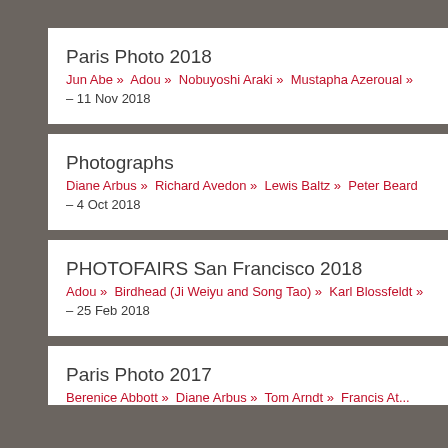Paris Photo 2018
Jun Abe »  Adou »  Nobuyoshi Araki »  Mustapha Azeroual »
– 11 Nov 2018
Photographs
Diane Arbus »  Richard Avedon »  Lewis Baltz »  Peter Beard
– 4 Oct 2018
PHOTOFAIRS San Francisco 2018
Adou »  Birdhead (Ji Weiyu and Song Tao) »  Karl Blossfeldt »
– 25 Feb 2018
Paris Photo 2017
Berenice Abbott »  Diane Arbus »  Tom Arndt »  Francis At...